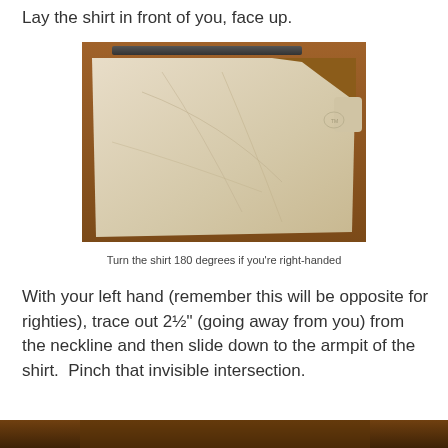Lay the shirt in front of you, face up.
[Figure (photo): A white/cream t-shirt laid flat on a brown wooden surface, face up, viewed from above. A dark ruler or stick is visible at the top edge of the shirt.]
Turn the shirt 180 degrees if you're right-handed
With your left hand (remember this will be opposite for righties), trace out 2½" (going away from you) from the neckline and then slide down to the armpit of the shirt.  Pinch that invisible intersection.
[Figure (photo): Partial view of a dark brown wooden surface, bottom of page cropped.]